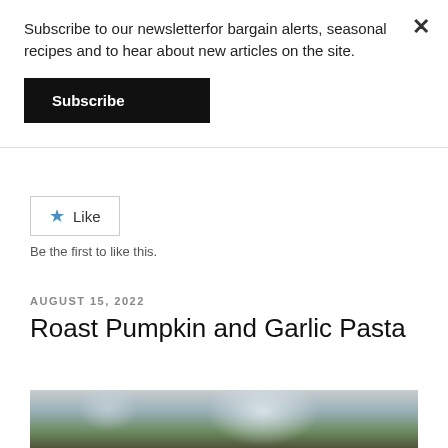Subscribe to our newsletterfor bargain alerts, seasonal recipes and to hear about new articles on the site.
Subscribe
Like
Be the first to like this.
AUGUST 15, 2022
Roast Pumpkin and Garlic Pasta
[Figure (photo): Blurred outdoor photo showing bokeh background with green foliage and a dark surface/table in foreground]